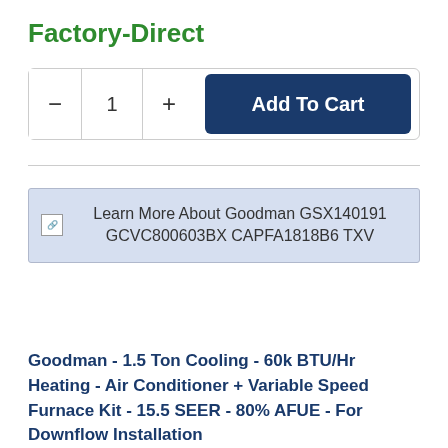Factory-Direct
[Figure (screenshot): Add to cart UI with quantity selector (minus button, 1, plus button) and a dark blue 'Add To Cart' button]
Learn More About Goodman GSX140191 GCVC800603BX CAPFA1818B6 TXV
Goodman - 1.5 Ton Cooling - 60k BTU/Hr Heating - Air Conditioner + Variable Speed Furnace Kit - 15.5 SEER - 80% AFUE - For Downflow Installation